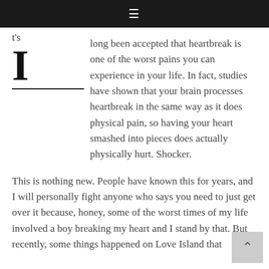☰
t's long been accepted that heartbreak is one of the worst pains you can experience in your life. In fact, studies have shown that your brain processes heartbreak in the same way as it does physical pain, so having your heart smashed into pieces does actually physically hurt. Shocker.
This is nothing new. People have known this for years, and I will personally fight anyone who says you need to just get over it because, honey, some of the worst times of my life involved a boy breaking my heart and I stand by that. But recently, some things happened on Love Island that